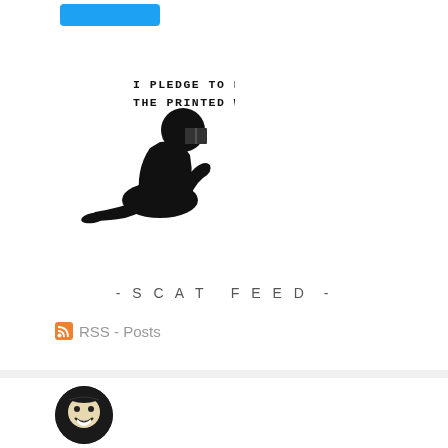[Figure (illustration): Blue follow button at top of sidebar widget]
[Figure (illustration): Silhouette of a person reading with typewriter text 'I PLEDGE TO READ THE PRINTED WORD']
- SCAT FEED -
RSS - Posts
[Figure (illustration): Circular avatar image showing a cartoon face on black background]